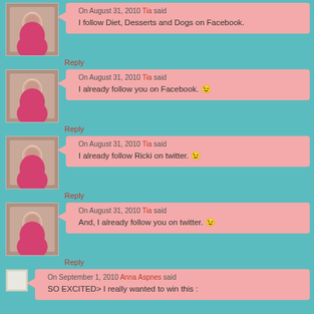On August 31, 2010 Tia said: I follow Diet, Desserts and Dogs on Facebook.
Reply
On August 31, 2010 Tia said: I already follow you on Facebook. :)
Reply
On August 31, 2010 Tia said: I already follow Ricki on twitter. :)
Reply
On August 31, 2010 Tia said: And, I already follow you on twitter. :)
Reply
On September 1, 2010 Anna Aspnes said: SO EXCITED> I really wanted to win this :)